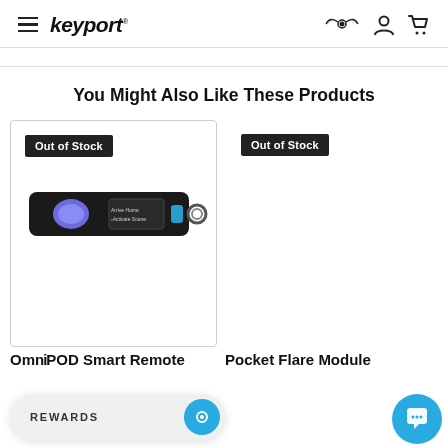keyport
You Might Also Like These Products
[Figure (photo): OmniPOD Smart Remote device – a black elongated device with a blue indicator light and small screen, shown on white background. Has 'Out of Stock' badge overlay.]
[Figure (photo): Pocket Flare Module product area – partially visible, with 'Out of Stock' badge overlay.]
OmniPOD Smart Remote
Pocket Flare Module
REWARDS